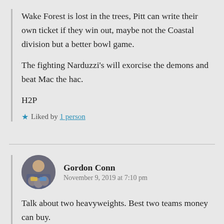Wake Forest is lost in the trees, Pitt can write their own ticket if they win out, maybe not the Coastal division but a better bowl game.
The fighting Narduzzi's will exorcise the demons and beat Mac the hac.
H2P
★ Liked by 1 person
Gordon Conn
November 9, 2019 at 7:10 pm
Talk about two heavyweights. Best two teams money can buy.
Size, speed, athleticism. A whole nuther level.